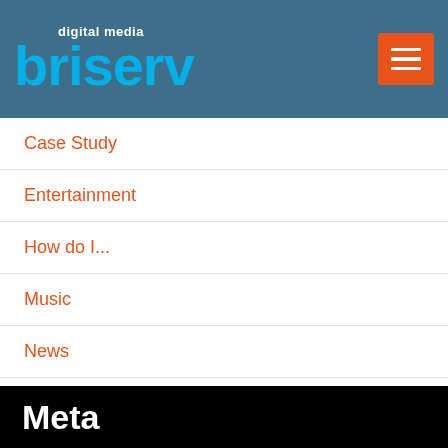digital media briserv
Case Study
Entertainment
How do I...
Music
News
Resources
Tech Tuesday
Uncategorized
Meta